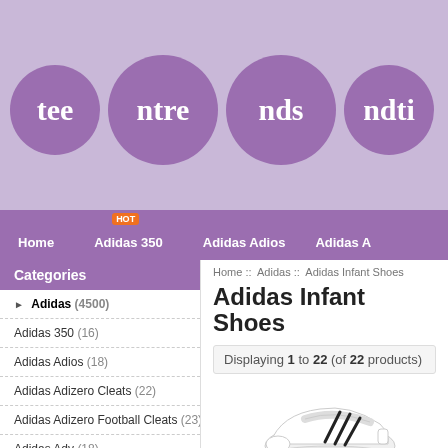[Figure (logo): Teentrends website logo with four overlapping purple circles containing text: tee, ntre, nds, ndti]
Home   Adidas 350 HOT   Adidas Adios   Adidas A
Home :: Adidas :: Adidas Infant Shoes
Adidas Infant Shoes
Displaying 1 to 22 (of 22 products)
Categories
▶ Adidas (4500)
Adidas 350 (16)
Adidas Adios (18)
Adidas Adizero Cleats (22)
Adidas Adizero Football Cleats (23)
Adidas Adv (18)
Adidas Athletic Shoes (22)
[Figure (photo): White Adidas infant/toddler sneaker with velcro strap and black three stripes]